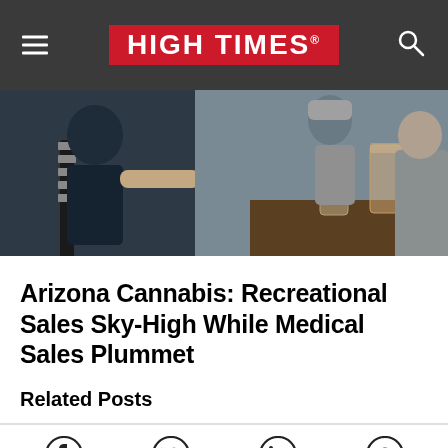HIGH TIMES
[Figure (photo): People sitting together playing guitar and holding drinks, casual social gathering scene]
Arizona Cannabis: Recreational Sales Sky-High While Medical Sales Plummet
Related Posts
[Figure (infographic): Social sharing icons: Facebook, Twitter, LinkedIn, Reddit]